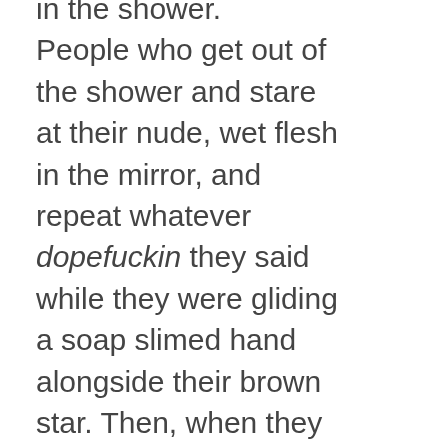in the shower. People who get out of the shower and stare at their nude, wet flesh in the mirror, and repeat whatever dopefuckin they said while they were gliding a soap slimed hand alongside their brown star. Then, when they sit up in bed at 4am and realize that kind of shitty filler doesn't make a lot of sense, even by the "it doesn't make any difference if these make any sense" comic book standard, they just lay back down.